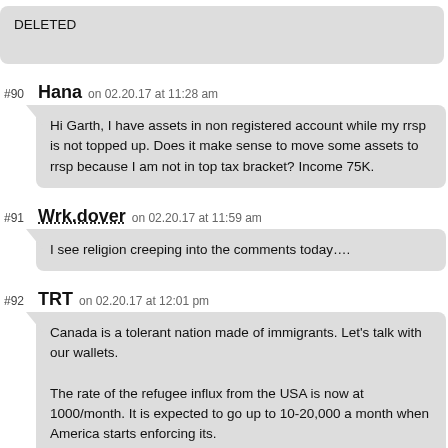DELETED
#90 Hana on 02.20.17 at 11:28 am
Hi Garth, I have assets in non registered account while my rrsp is not topped up. Does it make sense to move some assets to rrsp because I am not in top tax bracket? Income 75K.
#91 Wrk.dover on 02.20.17 at 11:59 am
I see religion creeping into the comments today….
#92 TRT on 02.20.17 at 12:01 pm
Canada is a tolerant nation made of immigrants. Let's talk with our wallets.

The rate of the refugee influx from the USA is now at 1000/month. It is expected to go up to 10-20,000 a month when America starts enforcing its.